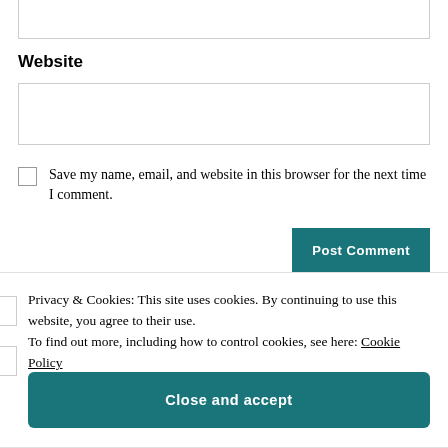Website
Save my name, email, and website in this browser for the next time I comment.
Post Comment
Privacy & Cookies: This site uses cookies. By continuing to use this website, you agree to their use.
To find out more, including how to control cookies, see here: Cookie Policy
Close and accept